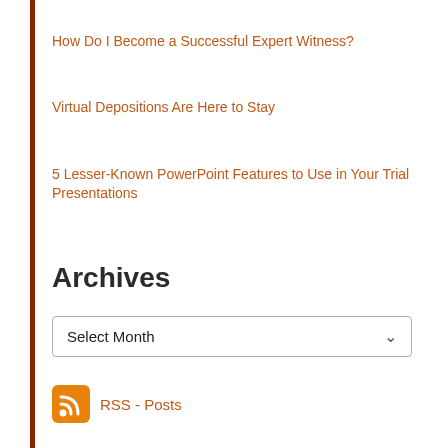How Do I Become a Successful Expert Witness?
Virtual Depositions Are Here to Stay
5 Lesser-Known PowerPoint Features to Use in Your Trial Presentations
Archives
Select Month
RSS - Posts